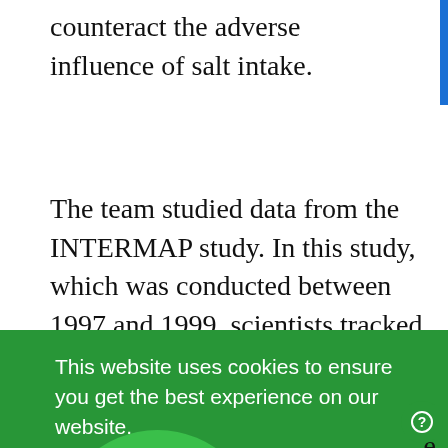counteract the adverse influence of salt intake.
The team studied data from the INTERMAP study. In this study, which was conducted between 1997 and 1999, scientists tracked the diets of 4,680 people, aged 40 to 59, from the
This website uses cookies to ensure you get the best experience on our website.
the main component of salt, while potassium,